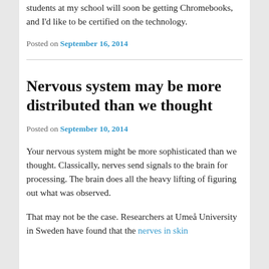students at my school will soon be getting Chromebooks, and I'd like to be certified on the technology.
Posted on September 16, 2014
Nervous system may be more distributed than we thought
Posted on September 10, 2014
Your nervous system might be more sophisticated than we thought. Classically, nerves send signals to the brain for processing. The brain does all the heavy lifting of figuring out what was observed.
That may not be the case. Researchers at Umeå University in Sweden have found that the nerves in skin